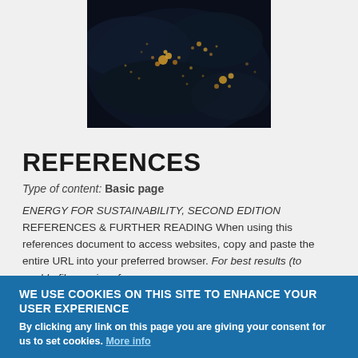[Figure (photo): Satellite photo of Earth at night showing city lights, particularly over Europe/Middle East region, dark background with glowing city clusters]
REFERENCES
Type of content: Basic page
ENERGY FOR SUSTAINABILITY, SECOND EDITION REFERENCES & FURTHER READING When using this references document to access websites, copy and paste the entire URL into your preferred browser. For best results (to enable file preview, for...
WE USE COOKIES ON THIS SITE TO ENHANCE YOUR USER EXPERIENCE
By clicking any link on this page you are giving your consent for us to set cookies. More info